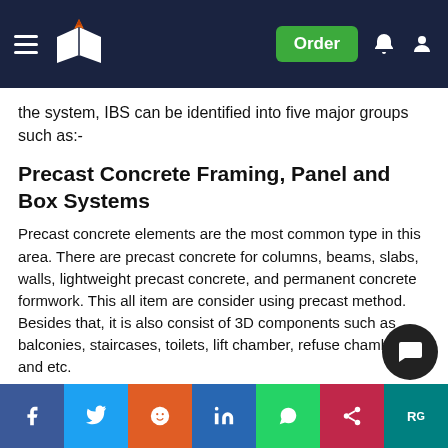Order
the system, IBS can be identified into five major groups such as:-
Precast Concrete Framing, Panel and Box Systems
Precast concrete elements are the most common type in this area. There are precast concrete for columns, beams, slabs, walls, lightweight precast concrete, and permanent concrete formwork. This all item are consider using precast method. Besides that, it is also consist of 3D components such as balconies, staircases, toilets, lift chamber, refuse chambers and etc.
This precast method is more famous for the construction industry, especially for the public housing when constructing using the IBS. Using this method can saving the total construction cost and known as the best method.
Facebook Twitter Reddit LinkedIn WhatsApp Share ResearchGate